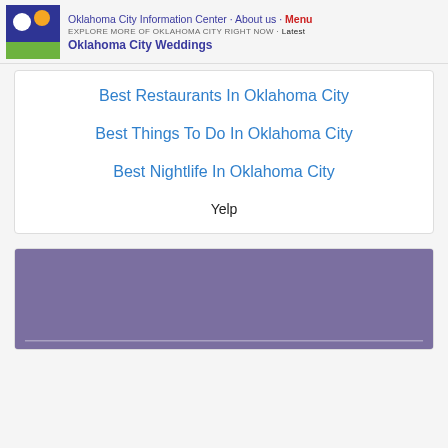Oklahoma City Information Center · About us · Menu  EXPLORE MORE OF OKLAHOMA CITY RIGHT NOW · Latest  Oklahoma City Weddings
Best Restaurants In Oklahoma City
Best Things To Do In Oklahoma City
Best Nightlife In Oklahoma City
Yelp
[Figure (photo): Purple/violet background image at the bottom of the page, partially visible]